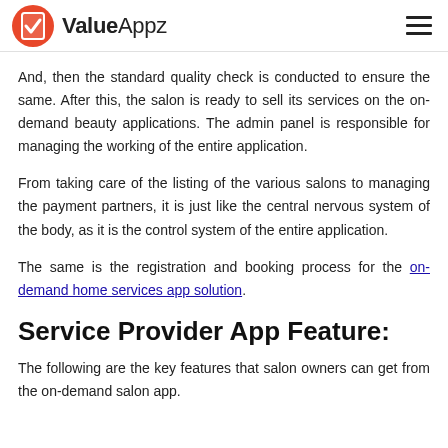ValueAppz
And, then the standard quality check is conducted to ensure the same. After this, the salon is ready to sell its services on the on-demand beauty applications. The admin panel is responsible for managing the working of the entire application.
From taking care of the listing of the various salons to managing the payment partners, it is just like the central nervous system of the body, as it is the control system of the entire application.
The same is the registration and booking process for the on-demand home services app solution.
Service Provider App Feature:
The following are the key features that salon owners can get from the on-demand salon app.